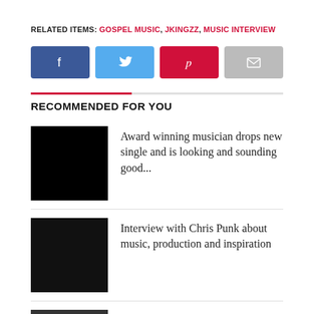RELATED ITEMS: GOSPEL MUSIC, JKINGZZ, MUSIC INTERVIEW
[Figure (infographic): Social share buttons: Facebook (blue), Twitter (light blue), Pinterest (red/pink), Email (gray)]
RECOMMENDED FOR YOU
[Figure (photo): Black thumbnail image for first recommended article]
Award winning musician drops new single and is looking and sounding good...
[Figure (photo): Dark thumbnail image for second recommended article]
Interview with Chris Punk about music, production and inspiration
[Figure (photo): Black and white photo of a person for third recommended article]
Introducing Brazii Roberts who is focused on the prize